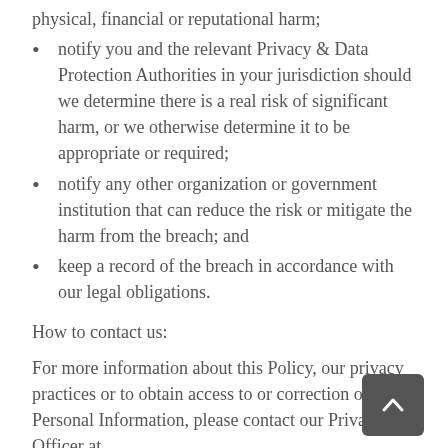physical, financial or reputational harm;
notify you and the relevant Privacy & Data Protection Authorities in your jurisdiction should we determine there is a real risk of significant harm, or we otherwise determine it to be appropriate or required;
notify any other organization or government institution that can reduce the risk or mitigate the harm from the breach; and
keep a record of the breach in accordance with our legal obligations.
How to contact us:
For more information about this Policy, our privacy practices or to obtain access to or correction of your Personal Information, please contact our Privacy Officer at
2811 Air Park Drive
Santa Maria, CA 93455